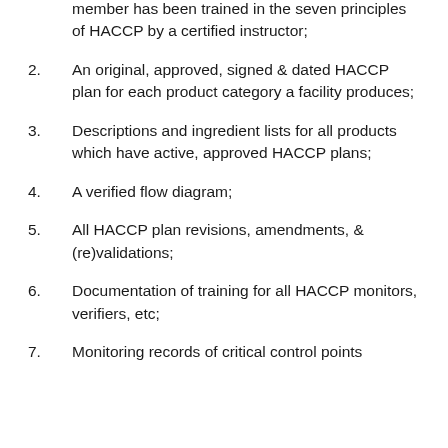member has been trained in the seven principles of HACCP by a certified instructor;
2. An original, approved, signed & dated HACCP plan for each product category a facility produces;
3. Descriptions and ingredient lists for all products which have active, approved HACCP plans;
4. A verified flow diagram;
5. All HACCP plan revisions, amendments, & (re)validations;
6. Documentation of training for all HACCP monitors, verifiers, etc;
7. Monitoring records of critical control points